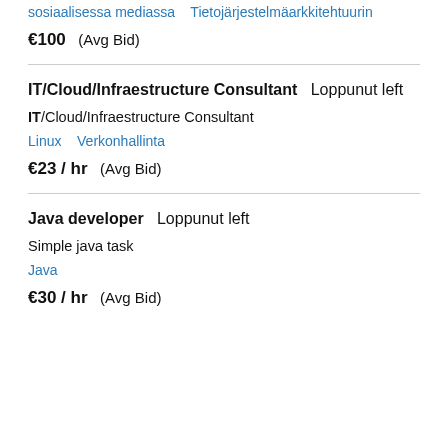sosiaalisessa mediassa   Tietojärjestelmäarkkitehtuurin
€100  (Avg Bid)
IT/Cloud/Infraestructure Consultant  Loppunut left
IT/Cloud/Infraestructure Consultant
Linux   Verkonhallinta
€23 / hr  (Avg Bid)
Java developer  Loppunut left
Simple java task
Java
€30 / hr  (Avg Bid)